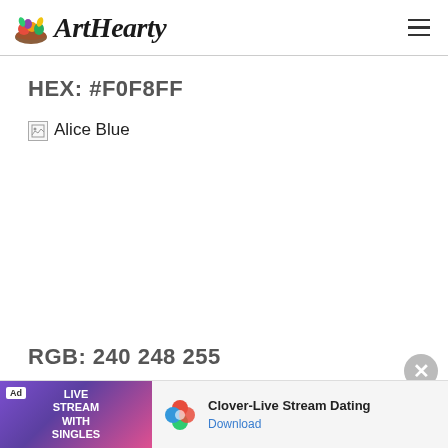[Figure (logo): ArtHearty website logo with colorful fruit/art icon and stylized italic text 'ArtHearty']
HEX: #F0F8FF
[Figure (illustration): Broken image placeholder with alt text 'Alice Blue']
RGB: 240 248 255
[Figure (screenshot): Advertisement banner: Clover-Live Stream Dating app ad with 'Download' link]